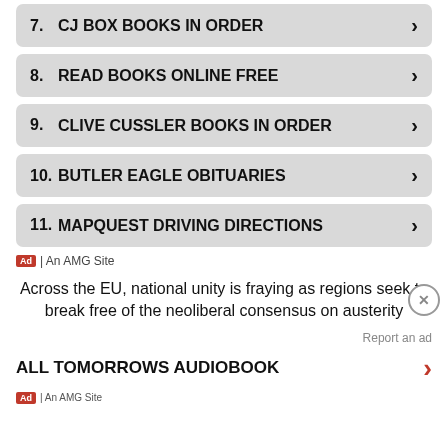7. CJ BOX BOOKS IN ORDER
8. READ BOOKS ONLINE FREE
9. CLIVE CUSSLER BOOKS IN ORDER
10. BUTLER EAGLE OBITUARIES
11. MAPQUEST DRIVING DIRECTIONS
Ad | An AMG Site
Across the EU, national unity is fraying as regions seek to break free of the neoliberal consensus on austerity
Report an ad
ALL TOMORROWS AUDIOBOOK
Ad | An AMG Site